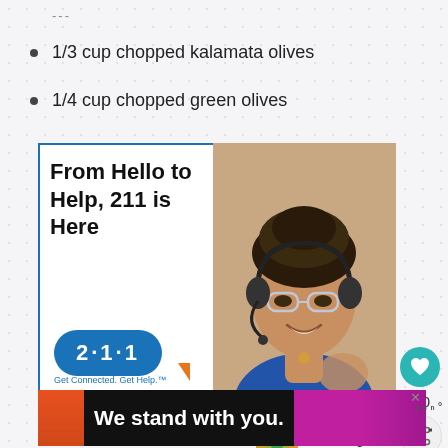---
1/3 cup chopped kalamata olives
1/4 cup chopped green olives
[Figure (infographic): Advertisement banner for 211 helpline service. Shows text 'From Hello to Help, 211 is Here' on the left with a 211 speech bubble logo and tagline 'Get Connected. Get Help.' On the right is a photo of a smiling woman wearing a headset and glasses.]
[Figure (infographic): Next article preview showing 'WHAT'S NEXT' label with an arrow and text 'Comforting Spaghetti...' with a thumbnail of a food dish.]
[Figure (infographic): Bottom advertisement banner with text 'We stand with you.' on a dark background with colorful stripes on left and right.]